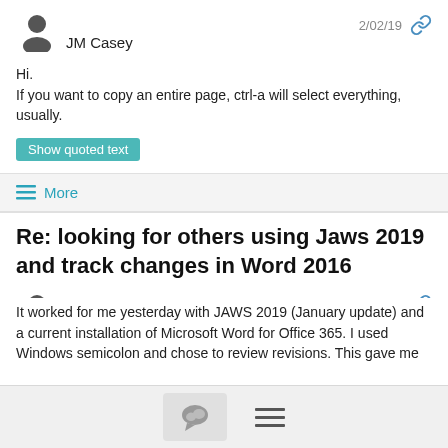[Figure (illustration): User avatar (silhouette) for JM Casey, with username 'JM Casey' and date '2/02/19' and link icon]
Hi.
If you want to copy an entire page, ctrl-a will select everything, usually.
Show quoted text
≡ More
Re: looking for others using Jaws 2019 and track changes in Word 2016
[Figure (illustration): User avatar (silhouette) for Jason White, with username 'Jason White' and date '2/02/19' and link icon]
It worked for me yesterday with JAWS 2019 (January update) and a current installation of Microsoft Word for Office 365. I used Windows semicolon and chose to review revisions. This gave me
[Figure (other): Bottom navigation bar with chat bubble icon button and hamburger menu icon]